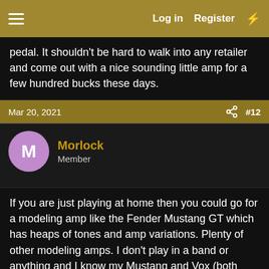Log in  Register
pedal. It shouldn't be hard to walk into any retailer and come out with a nice sounding little amp for a few hundred bucks these days.
Mar 20, 2021   #12
Morlock
Member
If you are just playing at home then you could go for a modeling amp like the Fender Mustang GT which has heaps of tones and amp variations. Plenty of other modeling amps. I don't play in a band or anything and I know my Mustang and Vox (both modeling amps) have saved me a fortune in pedals etc.
Jun 30, 2021   #13
MacFangus
Member